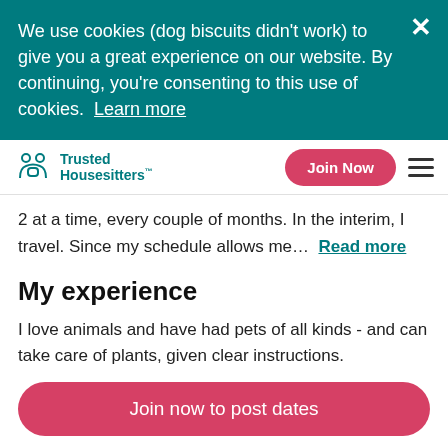We use cookies (dog biscuits didn't work) to give you a great experience on our website. By continuing, you're consenting to this use of cookies. Learn more
Trusted Housesitters
2 at a time, every couple of months. In the interim, I travel. Since my schedule allows me… Read more
My experience
I love animals and have had pets of all kinds - and can take care of plants, given clear instructions. I'm a neat freak and super clean. I've also owned 3
Join now to post dates